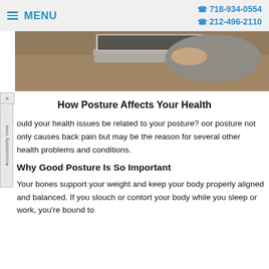MENU | 718-934-0554 | 212-496-2110
[Figure (photo): Person typing on a laptop on a wooden surface, viewed from above]
How Posture Affects Your Health
ould your health issues be related to your posture? oor posture not only causes back pain but may be the reason for several other health problems and conditions.
Why Good Posture Is So Important
Your bones support your weight and keep your body properly aligned and balanced. If you slouch or contort your body while you sleep or work, you're bound to